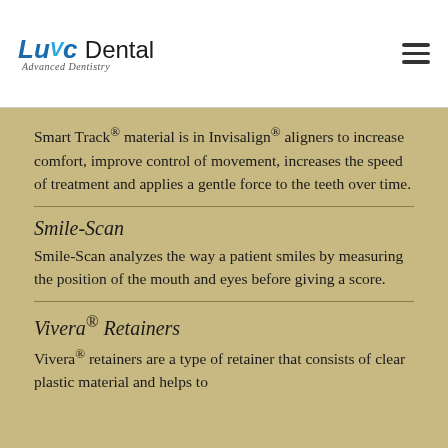LuVec Dental Advanced Dentistry
Smart Track® material is in Invisalign® aligners to increase comfort, improve control of movement, increases the speed of treatment and applies a gentle force to the teeth over time.
Smile-Scan
Smile-Scan analyzes the way a patient smiles by measuring the position of the mouth and eyes before giving a score.
Vivera® Retainers
Vivera® retainers are a type of retainer that consists of clear plastic material and helps to